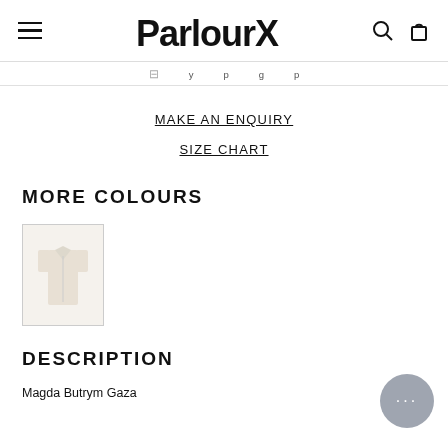ParlourX — navigation header with hamburger menu, logo, search and cart icons
MAKE AN ENQUIRY
SIZE CHART
MORE COLOURS
[Figure (photo): Thumbnail image of a beige/cream Magda Butrym Gaza garment]
DESCRIPTION
Magda Butrym Gaza